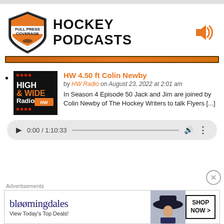[Figure (logo): Full Press Coverage shield logo with orange and black colors]
HOCKEY PODCASTS
HW 4.50 ft Colin Newby by HW Radio on August 23, 2022 at 2:01 am In Season 4 Episode 50 Jack and Jim are joined by Colin Newby of The Hockey Writers to talk Flyers [...]
[Figure (screenshot): Audio player showing 0:00 / 1:10:33 with play button, progress bar, volume and more icons]
Advertisements
[Figure (screenshot): Bloomingdale's advertisement banner: bloomingdales View Today's Top Deals! SHOP NOW >]